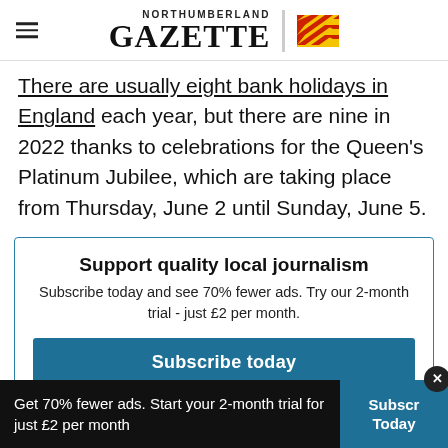Northumberland Gazette
There are usually eight bank holidays in England each year, but there are nine in 2022 thanks to celebrations for the Queen's Platinum Jubilee, which are taking place from Thursday, June 2 until Sunday, June 5.
Support quality local journalism
Subscribe today and see 70% fewer ads. Try our 2-month trial - just £2 per month.
Subscribe today
Get 70% fewer ads. Start your 2-month trial for just £2 per month
Subscribe Today